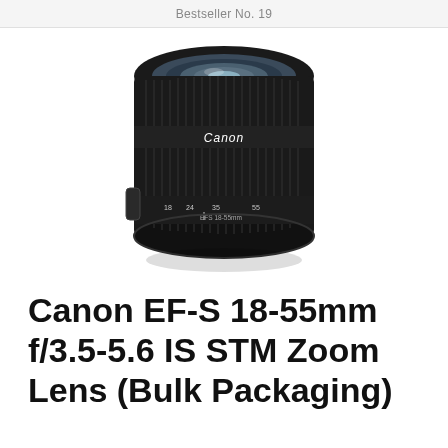Bestseller No. 19
[Figure (photo): Canon EF-S 18-55mm f/3.5-5.6 IS STM zoom lens, black, viewed from above at slight angle showing the lens barrel with focus ring markings and Canon branding]
Canon EF-S 18-55mm f/3.5-5.6 IS STM Zoom Lens (Bulk Packaging)